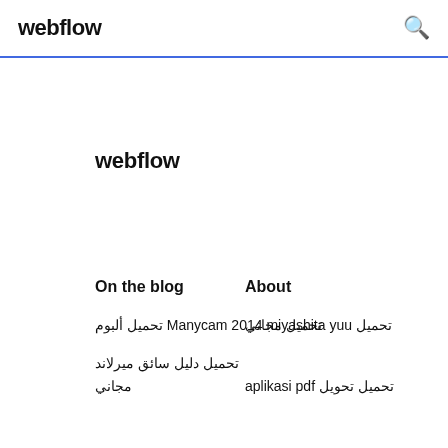webflow [search icon]
webflow
On the blog
About
تحميل Manycam 2014 miyashita yuu تحميل ألبوم
تحميل مجاني
تحميل دليل سائق ميرلاند
مجاني
تحميل تحويل aplikasi pdf